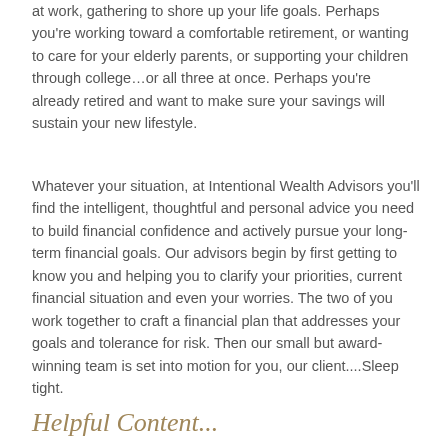at work, gathering to shore up your life goals. Perhaps you're working toward a comfortable retirement, or wanting to care for your elderly parents, or supporting your children through college…or all three at once. Perhaps you're already retired and want to make sure your savings will sustain your new lifestyle.
Whatever your situation, at Intentional Wealth Advisors you'll find the intelligent, thoughtful and personal advice you need to build financial confidence and actively pursue your long-term financial goals. Our advisors begin by first getting to know you and helping you to clarify your priorities, current financial situation and even your worries. The two of you work together to craft a financial plan that addresses your goals and tolerance for risk. Then our small but award-winning team is set into motion for you, our client....Sleep tight.
Helpful Content...